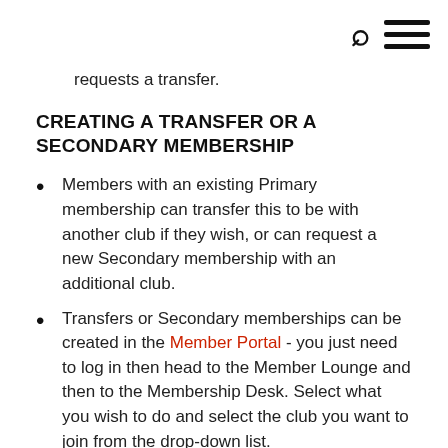requests a transfer.
CREATING A TRANSFER OR A SECONDARY MEMBERSHIP
Members with an existing Primary membership can transfer this to be with another club if they wish, or can request a new Secondary membership with an additional club.
Transfers or Secondary memberships can be created in the Member Portal - you just need to log in then head to the Member Lounge and then to the Membership Desk. Select what you wish to do and select the club you want to join from the drop-down list.